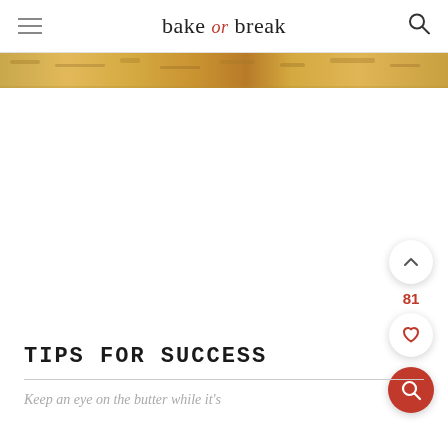bake or break
[Figure (photo): Close-up strip of a baked food item with golden-brown surface]
TIPS FOR SUCCESS
Keep an eye on the butter while it's